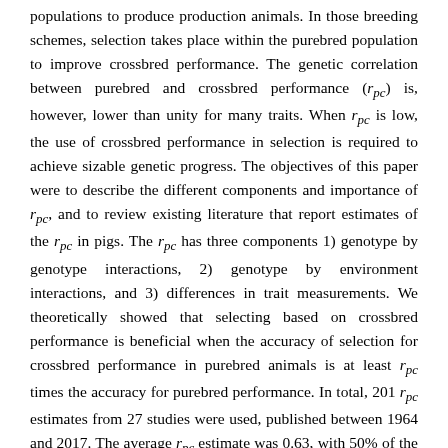populations to produce production animals. In those breeding schemes, selection takes place within the purebred population to improve crossbred performance. The genetic correlation between purebred and crossbred performance (r_pc) is, however, lower than unity for many traits. When r_pc is low, the use of crossbred performance in selection is required to achieve sizable genetic progress. The objectives of this paper were to describe the different components and importance of r_pc, and to review existing literature that report estimates of the r_pc in pigs. The r_pc has three components 1) genotype by genotype interactions, 2) genotype by environment interactions, and 3) differences in trait measurements. We theoretically showed that selecting based on crossbred performance is beneficial when the accuracy of selection for crossbred performance in purebred animals is at least r_pc times the accuracy for purebred performance. In total, 201 r_pc estimates from 27 studies were used, published between 1964 and 2017. The average r_pc estimate was 0.63, with 50% of the estimates between 0.45 and 0.87. Standard errors of the estimates were on average 0.16, with 50% of the standard errors between 0.06 and 0.19. For all different trait categories, e.g. growth, meat amount, meat quality, feed, and fertility, the average r_pc was around 0.6. Genotype by environment interaction appeared to have a smaller contribution to r